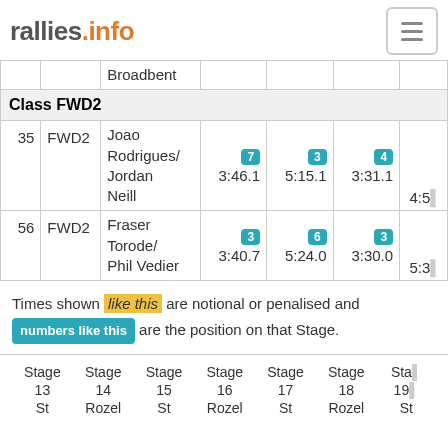rallies.info
| # | Class | Driver/Co-driver | Stage | Stage | Stage | Stage |
| --- | --- | --- | --- | --- | --- | --- |
|  |  | Broadbent |  |  |  |  |
| Class FWD2 |  |  |  |  |  |  |
| 35 | FWD2 | Joao Rodrigues/ Jordan Neill | 7 3:46.1 | 3 5:15.1 | 4 3:31.1 | 4:5... |
| 56 | FWD2 | Fraser Torode/ Phil Vedier | 3 3:40.7 | 6 5:24.0 | 3 3:30.0 | 5:3... |
Times shown like this are notional or penalised and numbers like this are the position on that Stage.
| Stage 13 | Stage 14 | Stage 15 | Stage 16 | Stage 17 | Stage 18 | Stage 19 |
| --- | --- | --- | --- | --- | --- | --- |
| St | Rozel | St | Rozel | St | Rozel | St |